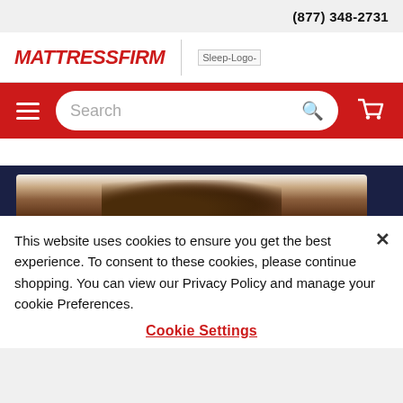(877) 348-2731
[Figure (logo): MattressFIRM logo and Sleep logo placeholder]
[Figure (screenshot): Red navigation bar with hamburger menu, search bar, and cart icon]
[Figure (photo): Partial image of person with curly hair on beige/cream background against dark blue]
This website uses cookies to ensure you get the best experience. To consent to these cookies, please continue shopping. You can view our Privacy Policy and manage your cookie Preferences.
Cookie Settings